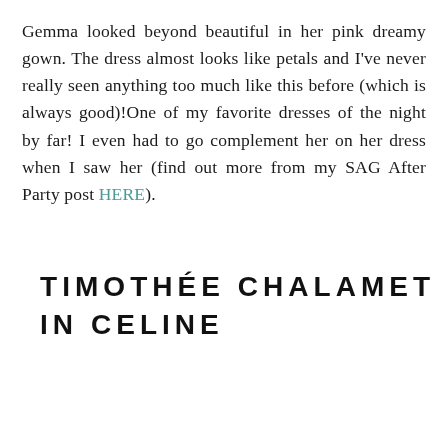Gemma looked beyond beautiful in her pink dreamy gown. The dress almost looks like petals and I've never really seen anything too much like this before (which is always good)!One of my favorite dresses of the night by far! I even had to go complement her on her dress when I saw her (find out more from my SAG After Party post HERE).
TIMOTHÉE CHALAMET IN CELINE